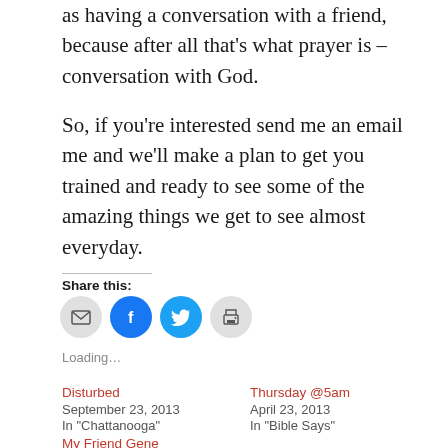as having a conversation with a friend, because after all that's what prayer is – conversation with God.
So, if you're interested send me an email me and we'll make a plan to get you trained and ready to see some of the amazing things we get to see almost everyday.
Share this:
[Figure (infographic): Row of four social sharing icon buttons: email (grey circle), Facebook (blue circle), Twitter (blue circle), print (grey circle)]
Loading…
Disturbed
September 23, 2013
In "Chattanooga"
Thursday @5am
April 23, 2013
In "Bible Says"
My Friend Gene